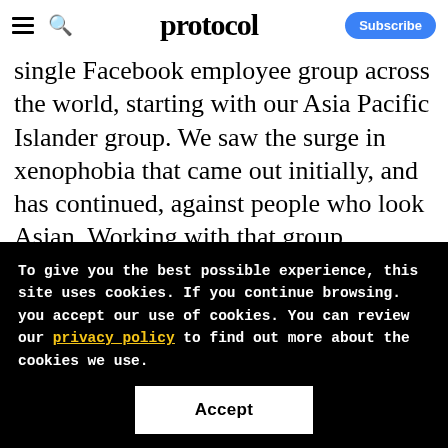protocol
single Facebook employee group across the world, starting with our Asia Pacific Islander group. We saw the surge in xenophobia that came out initially, and has continued, against people who look Asian. Working with that group, standing up for that group, giving space to the group. It's been a time that has made us be honest about what we should have been doing all along
To give you the best possible experience, this site uses cookies. If you continue browsing. you accept our use of cookies. You can review our privacy policy to find out more about the cookies we use.
Accept